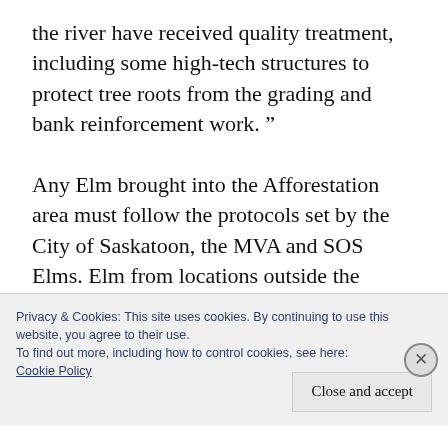the river have received quality treatment, including some high-tech structures to protect tree roots from the grading and bank reinforcement work. ”
Any Elm brought into the Afforestation area must follow the protocols set by the City of Saskatoon, the MVA and SOS Elms. Elm from locations outside the Afforestation area must not be allowed to enter. Please help to keep vigilant, and protect the forest.
Privacy & Cookies: This site uses cookies. By continuing to use this website, you agree to their use.
To find out more, including how to control cookies, see here:
Cookie Policy
Close and accept